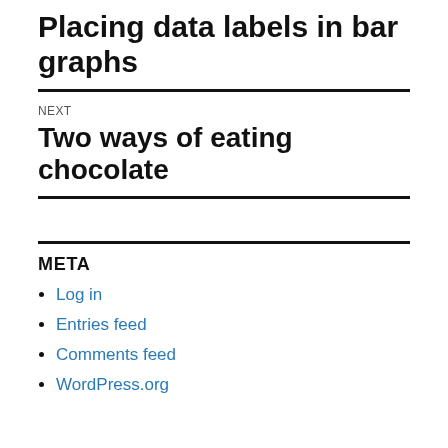Placing data labels in bar graphs
NEXT
Two ways of eating chocolate
META
Log in
Entries feed
Comments feed
WordPress.org